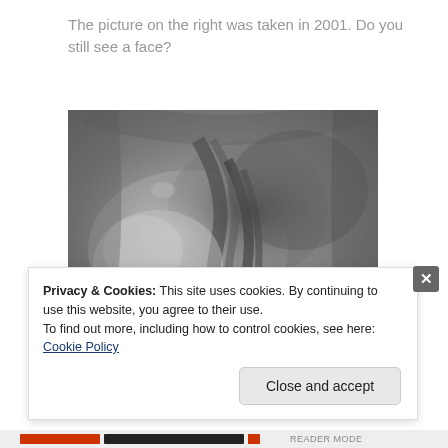The picture on the right was taken in 2001. Do you still see a face?
[Figure (photo): Black and white aerial photograph of the Cydonia region on Mars, showing a mesa formation that resembles a face when viewed from certain angles (2001 photo showing less face-like appearance due to higher resolution).]
Privacy & Cookies: This site uses cookies. By continuing to use this website, you agree to their use.
To find out more, including how to control cookies, see here: Cookie Policy
Close and accept